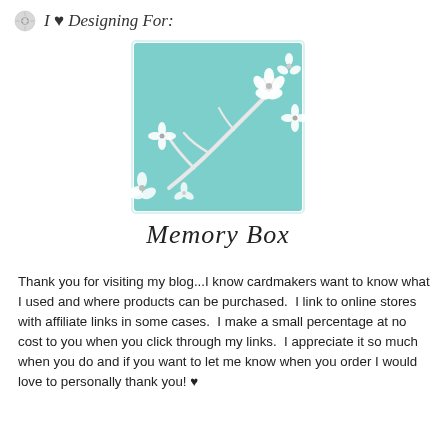I ♥ Designing For:
[Figure (logo): Memory Box brand logo: teal/mint rectangular background with white embossed floral branch design (cherry blossoms / flowers on stems), and 'Memory Box' written in cursive script below]
Thank you for visiting my blog...I know cardmakers want to know what I used and where products can be purchased.  I link to online stores with affiliate links in some cases.  I make a small percentage at no cost to you when you click through my links.  I appreciate it so much when you do and if you want to let me know when you order I would love to personally thank you! ♥